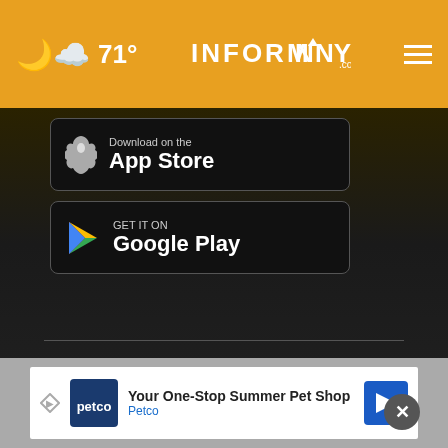71° InformNNY.com
[Figure (screenshot): App Store download button (black rounded rectangle with Apple logo)]
[Figure (screenshot): Google Play download button (black rounded rectangle with Google Play logo)]
News
Weather
Sports
Community Events
ABC50 Contests
Video Center
TV Schedule
About Us
[Figure (infographic): Advertisement banner: Petco - Your One-Stop Summer Pet Shop]